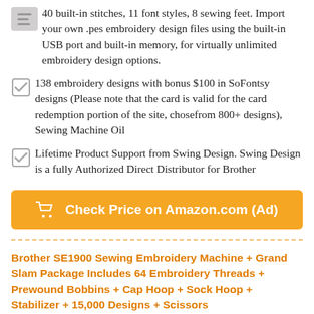40 built-in stitches, 11 font styles, 8 sewing feet. Import your own .pes embroidery design files using the built-in USB port and built-in memory, for virtually unlimited embroidery design options.
138 embroidery designs with bonus $100 in SoFontsy designs (Please note that the card is valid for the card redemption portion of the site, chosefrom 800+ designs), Sewing Machine Oil
Lifetime Product Support from Swing Design. Swing Design is a fully Authorized Direct Distributor for Brother
[Figure (other): Orange button with shopping cart icon and text 'Check Price on Amazon.com (Ad)']
Brother SE1900 Sewing Embroidery Machine + Grand Slam Package Includes 64 Embroidery Threads + Prewound Bobbins + Cap Hoop + Sock Hoop + Stabilizer + 15,000 Designs + Scissors